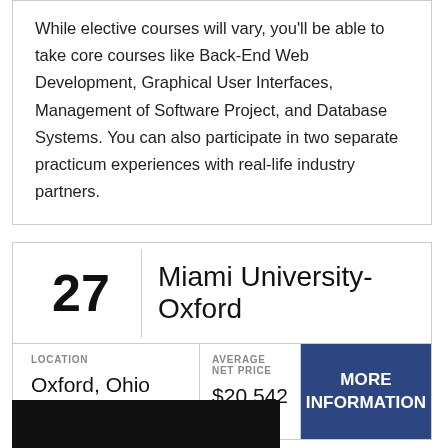While elective courses will vary, you'll be able to take core courses like Back-End Web Development, Graphical User Interfaces, Management of Software Project, and Database Systems. You can also participate in two separate practicum experiences with real-life industry partners.
| Rank | University | Location | Average Net Price | More Information |
| --- | --- | --- | --- | --- |
| 27 | Miami University-Oxford | Oxford, Ohio | $20,542 | MORE INFORMATION |
[Figure (photo): Dark/black photo image at the bottom of the card]